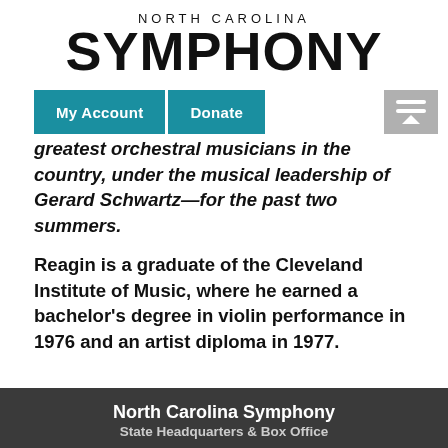NORTH CAROLINA SYMPHONY
[Figure (screenshot): Navigation bar with 'My Account' and 'Donate' buttons in teal, and a hamburger/menu icon on the right in gray]
greatest orchestral musicians in the country, under the musical leadership of Gerard Schwartz—for the past two summers.
Reagin is a graduate of the Cleveland Institute of Music, where he earned a bachelor's degree in violin performance in 1976 and an artist diploma in 1977.
North Carolina Symphony
State Headquarters & Box Office